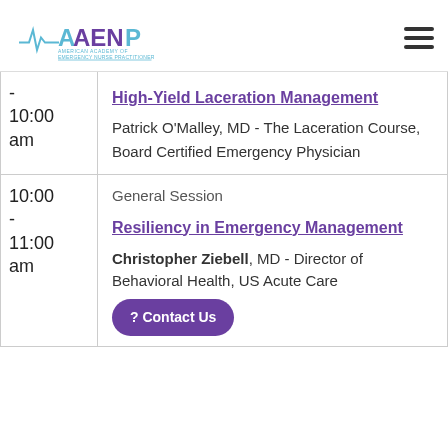[Figure (logo): AAENP - American Academy of Emergency Nurse Practitioners logo in blue and purple]
| Time | Session |
| --- | --- |
| - 10:00 am | High-Yield Laceration Management
Patrick O'Malley, MD - The Laceration Course, Board Certified Emergency Physician |
| 10:00 - 11:00 am | General Session
Resiliency in Emergency Management
Christopher Ziebell, MD - Director of Behavioral Health, US Acute Care |